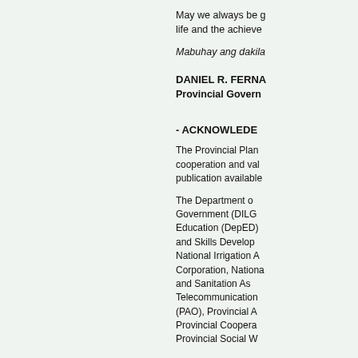May we always be g... life and the achieve...
Mabuhay ang dakila...
DANIEL R. FERNA...
Provincial Govern...
- ACKNOWLEDGE...
The Provincial Plan... cooperation and val... publication available...
The Department o... Government (DILG... Education (DepED)... and Skills Develop... National Irrigation A... Corporation, Nationa... and Sanitation As... Telecommunication... (PAO), Provincial A... Provincial Coopera... Provincial Social W...